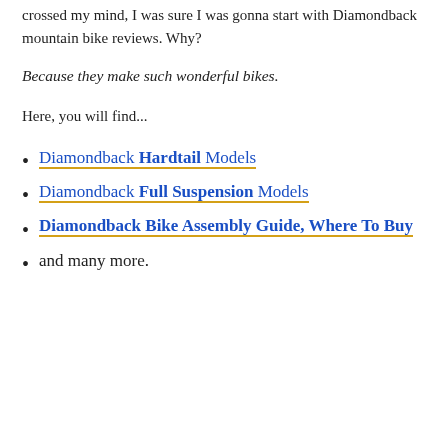crossed my mind, I was sure I was gonna start with Diamondback mountain bike reviews. Why?
Because they make such wonderful bikes.
Here, you will find...
Diamondback Hardtail Models
Diamondback Full Suspension Models
Diamondback Bike Assembly Guide, Where To Buy
and many more.